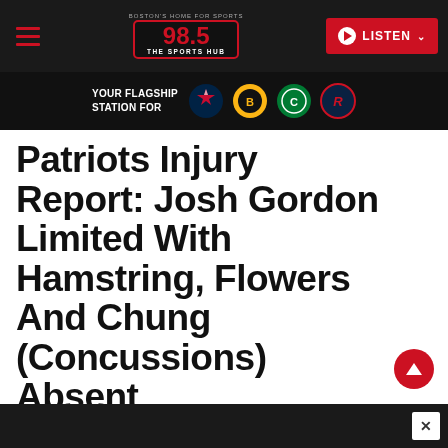98.5 The Sports Hub — Boston's Home For Sports
YOUR FLAGSHIP STATION FOR
Patriots Injury Report: Josh Gordon Limited With Hamstring, Flowers And Chung (Concussions) Absent